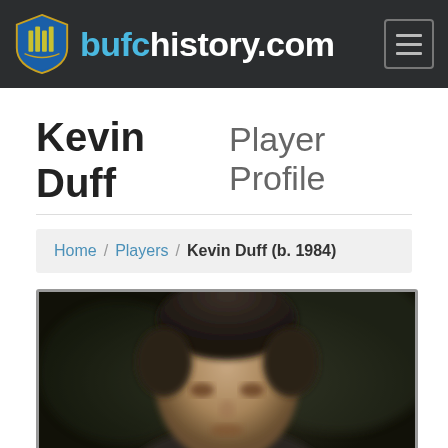bufchistory.com
Kevin Duff Player Profile
Home / Players / Kevin Duff (b. 1984)
[Figure (photo): Close-up portrait photo of Kevin Duff, a man with short dark hair, partially blurred, dark background]